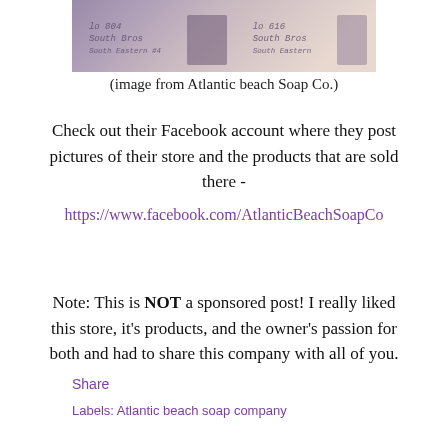[Figure (photo): Partial photo of Atlantic Beach Soap Co. products with handwritten labels, purple-toned image strip]
(image from Atlantic beach Soap Co.)
Check out their Facebook account where they post pictures of their store and the products that are sold there -
https://www.facebook.com/AtlanticBeachSoapCo
Note: This is NOT a sponsored post! I really liked this store, it's products, and the owner's passion for both and had to share this company with all of you.
Share
Labels: Atlantic beach soap company